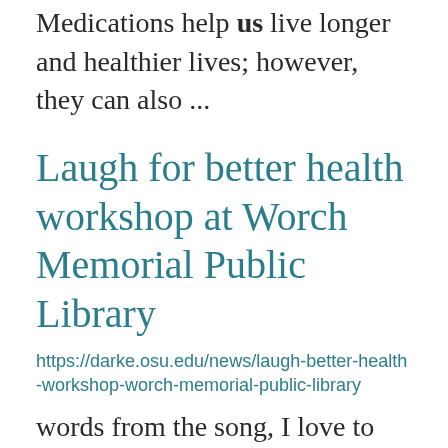Medications help us live longer and healthier lives; however, they can also ...
Laugh for better health workshop at Worch Memorial Public Library
https://darke.osu.edu/news/laugh-better-health-workshop-worch-memorial-public-library
words from the song, I love to laugh, from the movie Mary Poppins make us chuckle and brighten our mood. ... increase our awareness about attitudes and feelings while providing an opportunity to laugh, a respite from ... Public Library. If you are interested in participating in this one-hour,